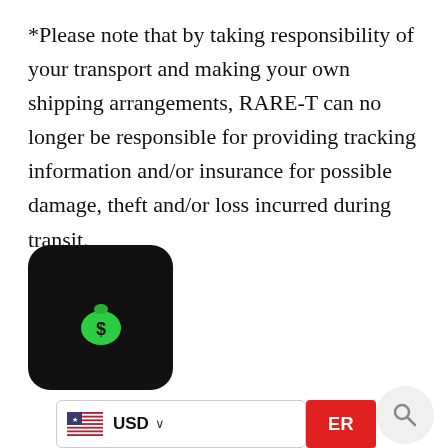*Please note that by taking responsibility of your transport and making your own shipping arrangements, RARE-T can no longer be responsible for providing tracking information and/or insurance for possible damage, theft and/or loss incurred during transit.
[Figure (illustration): Black rounded square icon with a green money bag emoji/symbol in the center]
[Figure (infographic): USD currency selector bar with US flag, USD label with dropdown chevron, partially visible red button with text ER, and a search circle icon on the right]